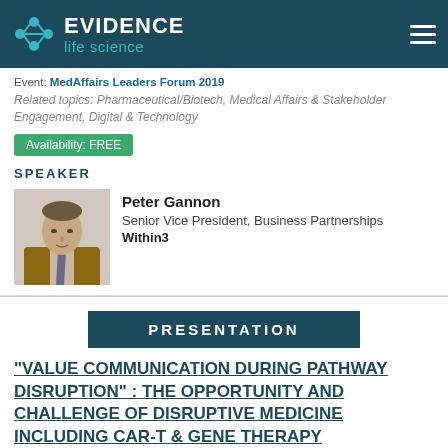[Figure (logo): Evidence Life Science logo with molecule icon on dark teal header bar]
Event: MedAffairs Leaders Forum 2019
Related topics: Pharmaceutical/Biotech, Medical Affairs & Stakeholder Engagement, Digital & Technology
Availability: FREE
SPEAKER
[Figure (photo): Photo of Peter Gannon, a man in a brown jacket]
Peter Gannon
Senior Vice President, Business Partnerships
Within3
PRESENTATION
“VALUE COMMUNICATION DURING PATHWAY DISRUPTION” : THE OPPORTUNITY AND CHALLENGE OF DISRUPTIVE MEDICINE INCLUDING CAR-T & GENE THERAPY
Event: MedAffairs Leaders Forum Europe (Autumn) 2018